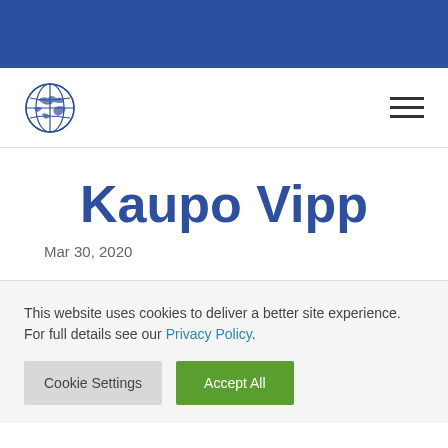[Figure (logo): Globe icon logo and hamburger menu navigation bar]
Kaupo Vipp
Mar 30, 2020
This website uses cookies to deliver a better site experience. For full details see our Privacy Policy.
Cookie Settings  Accept All